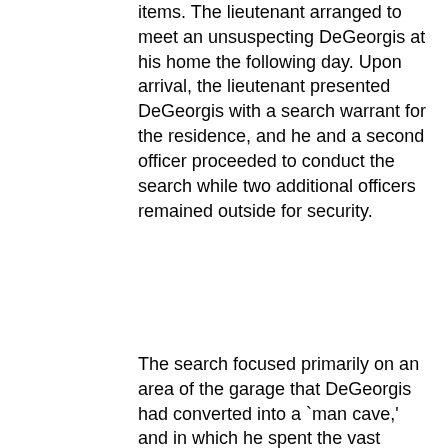items. The lieutenant arranged to meet an unsuspecting DeGeorgis at his home the following day. Upon arrival, the lieutenant presented DeGeorgis with a search warrant for the residence, and he and a second officer proceeded to conduct the search while two additional officers remained outside for security.
The search focused primarily on an area of the garage that DeGeorgis had converted into a `man cave,' and in which he spent the vast majority of his time. The area contained a myriad of locked boxes, drawers, and compartments. When asked, DeGeorgis informed the lieutenant that one of the locked cabinets contained a metal key box holding color-coded keys to each of the remaining locked containers, and he provided the lieutenant with a key to the cabinet. In one locked drawer, the lieutenant found numerous ziplock baggies containing women's undergarments, each individually labeled with a female's name and a date. After being questioned about the items, DeGeorgis admitted that they were “in his possession.” The remaining locked containers